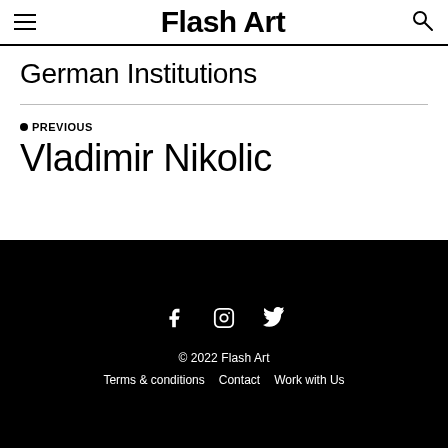Flash Art
German Institutions
• PREVIOUS
Vladimir Nikolic
© 2022 Flash Art  Terms & conditions  Contact  Work with Us